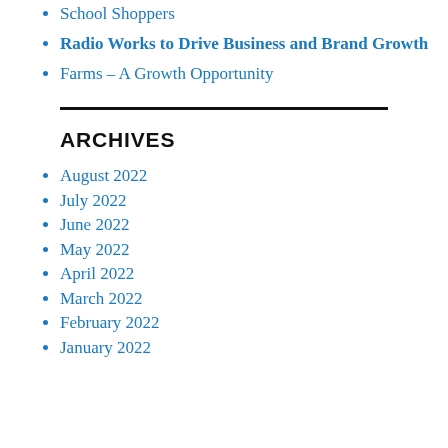School Shoppers
Radio Works to Drive Business and Brand Growth
Farms – A Growth Opportunity
ARCHIVES
August 2022
July 2022
June 2022
May 2022
April 2022
March 2022
February 2022
January 2022